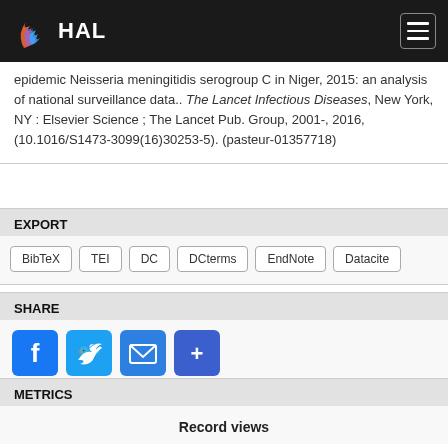HAL
epidemic Neisseria meningitidis serogroup C in Niger, 2015: an analysis of national surveillance data.. The Lancet Infectious Diseases, New York, NY : Elsevier Science ; The Lancet Pub. Group, 2001-, 2016, (10.1016/S1473-3099(16)30253-5). (pasteur-01357718)
EXPORT
BibTeX
TEI
DC
DCterms
EndNote
Datacite
SHARE
[Figure (infographic): Social share buttons: Facebook, Twitter, Email, More]
METRICS
Record views